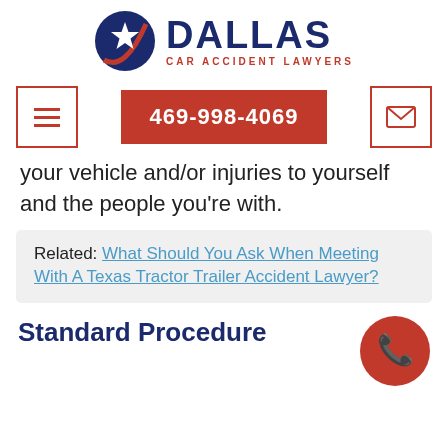[Figure (logo): Dallas Car Accident Lawyers logo with Texas star circle emblem and text 'DALLAS CAR ACCIDENT LAWYERS']
[Figure (infographic): Navigation bar with hamburger menu icon on left (red bordered box), red phone button in center showing '469-998-4069', and envelope icon on right (red bordered box)]
your vehicle and/or injuries to yourself and the people you're with.
Related: What Should You Ask When Meeting With A Texas Tractor Trailer Accident Lawyer?
Standard Procedure